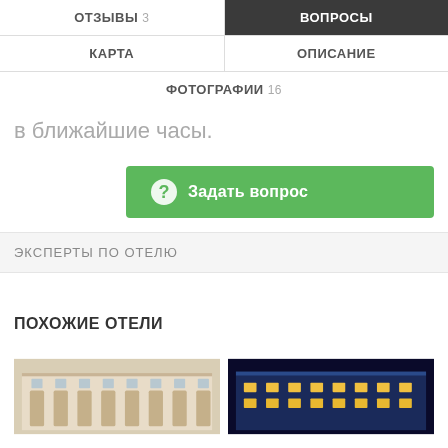ОТЗЫВЫ 3 | ВОПРОСЫ | КАРТА | ОПИСАНИЕ | ФОТОГРАФИИ 16
в ближайшие часы.
Задать вопрос
ЭКСПЕРТЫ ПО ОТЕЛЮ
ПОХОЖИЕ ОТЕЛИ
[Figure (photo): Hotel building exterior daytime - classical white facade]
[Figure (photo): Hotel building exterior nighttime - illuminated building]